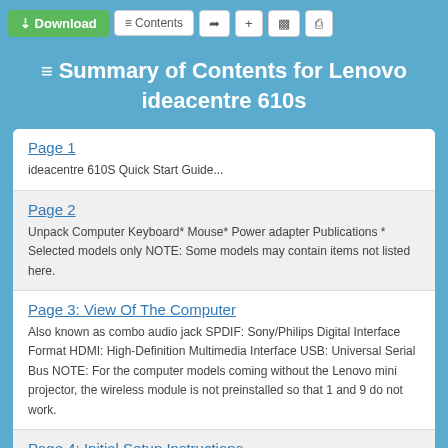Download | Contents
Summary of Contents for Lenovo ideacentre 610s
Page 1
ideacentre 610S Quick Start Guide...
Page 2
Unpack Computer Keyboard* Mouse* Power adapter Publications * Selected models only NOTE: Some models may contain items not listed here.
Page 3: View Of The Computer
Also known as combo audio jack SPDIF: Sony/Philips Digital Interface Format HDMI: High-Definition Multimedia Interface USB: Universal Serial Bus NOTE: For the computer models coming without the Lenovo mini projector, the wireless module is not preinstalled so that 1 and 9 do not work.
Page 4: Initial Setup Instructions